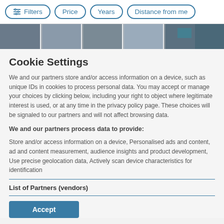Filters  Price  Years  Distance from me
[Figure (photo): Partial view of a photo strip showing building/property images]
Cookie Settings
We and our partners store and/or access information on a device, such as unique IDs in cookies to process personal data. You may accept or manage your choices by clicking below, including your right to object where legitimate interest is used, or at any time in the privacy policy page. These choices will be signaled to our partners and will not affect browsing data.
We and our partners process data to provide:
Store and/or access information on a device, Personalised ads and content, ad and content measurement, audience insights and product development, Use precise geolocation data, Actively scan device characteristics for identification
List of Partners (vendors)